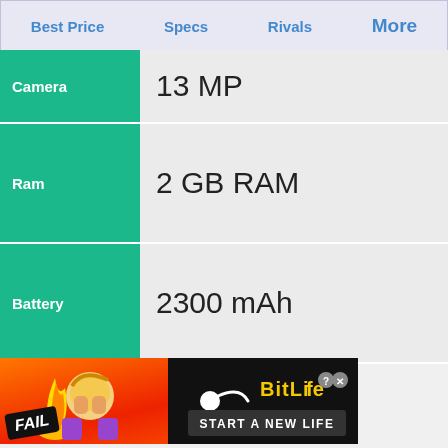Best Price   Specs   Rivals   More
| Spec | Value |
| --- | --- |
| Camera | 13 MP |
| Ram | 2 GB RAM |
| Battery | 2300 mAh |
[Figure (other): BitLife advertisement banner: FAIL badge on orange/red background with cartoon character, sperm icon, BitLife logo, and START A NEW LIFE text]